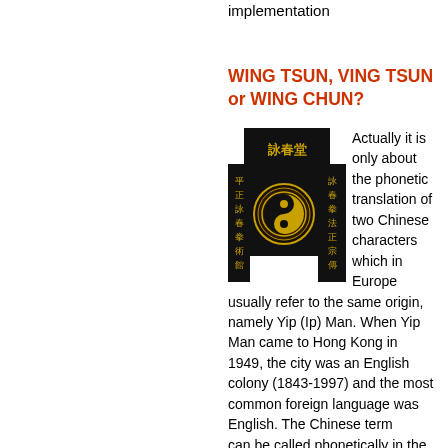implementation
WING TSUN, VING TSUN or WING CHUN?
[Figure (photo): Black signboards with gold Chinese characters (Wing Chun school signs) flanking a central circular medallion/plaque with yin-yang symbol on dark background]
Actually it is only about the phonetic translation of two Chinese characters which in Europe usually refer to the same origin, namely Yip (Ip) Man. When Yip Man came to Hong Kong in 1949, the city was an English colony (1843-1997) and the most common foreign language was English. The Chinese term      can be called phonetically in the English language as Wing Chun, which is still used as a upper term. Since Wing Chun is abbreviated also called "WC" and thus provide grounds